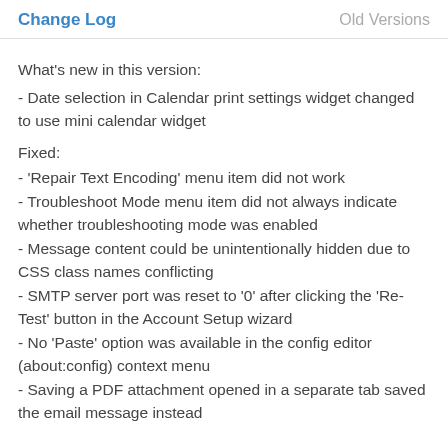Change Log   Old Versions
What's new in this version:
- Date selection in Calendar print settings widget changed to use mini calendar widget
Fixed:
- 'Repair Text Encoding' menu item did not work
- Troubleshoot Mode menu item did not always indicate whether troubleshooting mode was enabled
- Message content could be unintentionally hidden due to CSS class names conflicting
- SMTP server port was reset to '0' after clicking the 'Re-Test' button in the Account Setup wizard
- No 'Paste' option was available in the config editor (about:config) context menu
- Saving a PDF attachment opened in a separate tab saved the email message instead